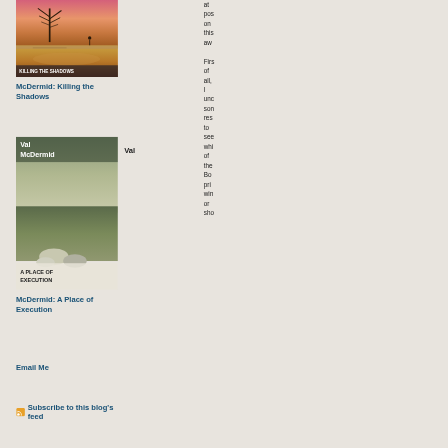[Figure (photo): Book cover of Val McDermid: Killing the Shadows — shows a desert scene with a bare tree and dramatic pink/orange sky]
McDermid: Killing the Shadows
[Figure (photo): Book cover of Val McDermid: A Place of Execution — shows moorland landscape with stone and a figure, green/grey tones]
Val
McDermid: A Place of Execution
Email Me
Subscribe to this blog's feed
at pos on this aw Firs of all, I unc son res to see whi of the Bo pri win or sho